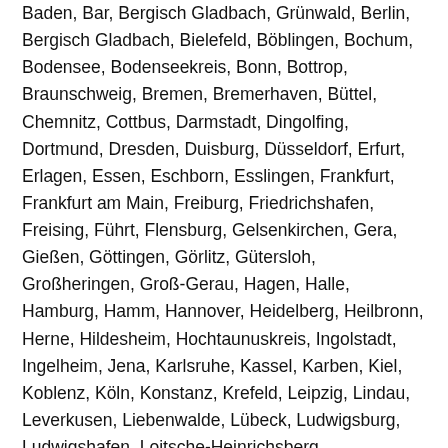Baden, Bar, Bergisch Gladbach, Grünwald, Berlin, Bergisch Gladbach, Bielefeld, Böblingen, Bochum, Bodensee, Bodenseekreis, Bonn, Bottrop, Braunschweig, Bremen, Bremerhaven, Büttel, Chemnitz, Cottbus, Darmstadt, Dingolfing, Dortmund, Dresden, Duisburg, Düsseldorf, Erfurt, Erlagen, Essen, Eschborn, Esslingen, Frankfurt, Frankfurt am Main, Freiburg, Friedrichshafen, Freising, Führt, Flensburg, Gelsenkirchen, Gera, Gießen, Göttingen, Görlitz, Gütersloh, Großheringen, Groß-Gerau, Hagen, Halle, Hamburg, Hamm, Hannover, Heidelberg, Heilbronn, Herne, Hildesheim, Hochtaunuskreis, Ingolstadt, Ingelheim, Jena, Karlsruhe, Kassel, Karben, Kiel, Koblenz, Köln, Konstanz, Krefeld, Leipzig, Lindau, Leverkusen, Liebenwalde, Lübeck, Ludwigsburg, Ludwigshafen, Loitsche-Heinrichsberg, Lörberschütz, Magdeburg, Mainz, Mannheim, Marburg, Menden, Memmingen, Moers, Mönchengladbach, Mühlheim, München, Münster, Neuss, Nürnberg, Ulm, Oberhausen, Offenbach, Oldenburg, Osnabrück, Padeborn, Pforzheim, Postdam, Pöcking, Plauen, Recklinghausen, Regensburg, Remscheid, Reutlingen, Rheins, Rosenheim, Rostock, Saarbrücken, Salzgitter, Schwerin,